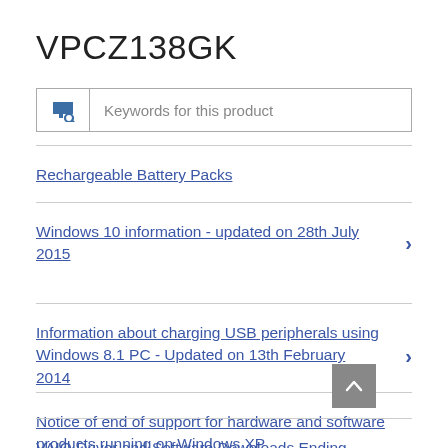VPCZ138GK
Keywords for this product
Rechargeable Battery Packs
Windows 10 information - updated on 28th July 2015
Information about charging USB peripherals using Windows 8.1 PC - Updated on 13th February 2014
Notice of end of support for hardware and software products running on Windows XP
VAIO Driver and Software Downloads Ending